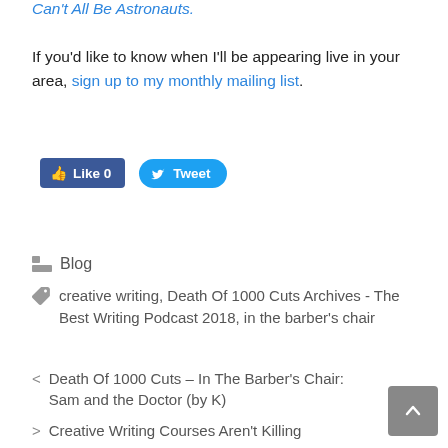Can't All Be Astronauts.
If you'd like to know when I'll be appearing live in your area, sign up to my monthly mailing list.
[Figure (other): Facebook Like button (count 0) and Twitter Tweet button]
Blog
creative writing, Death Of 1000 Cuts Archives - The Best Writing Podcast 2018, in the barber's chair
< Death Of 1000 Cuts – In The Barber's Chair: Sam and the Doctor (by K)
> Creative Writing Courses Aren't Killing